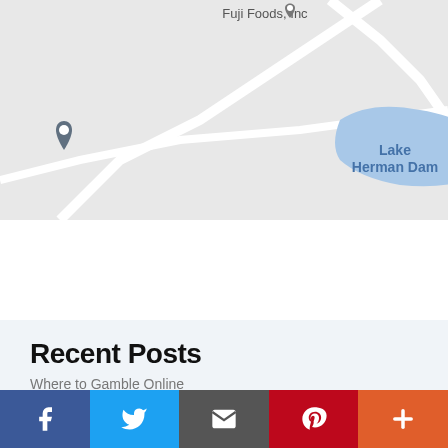[Figure (map): Google Maps screenshot showing Lake Herman Dam area with a location pin marker on the left and 'Fuji Foods, Inc' labeled at top with a map pin. A blue water body labeled 'Lake Herman Dam' is visible. Roads are shown in white/light gray on a gray background.]
Recent Posts
Where to Gamble Online
[Figure (infographic): Social sharing bar with five buttons: Facebook (blue, f icon), Twitter (light blue, bird icon), Email (dark gray, envelope icon), Pinterest (red, P icon), More (orange-red, plus icon)]